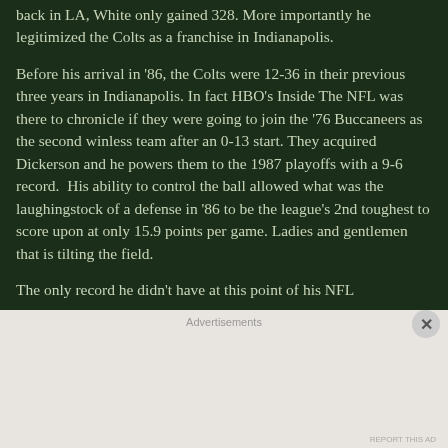back in LA, White only gained 328. More importantly he legitimized the Colts as a franchise in Indianapolis.
Before his arrival in '86, the Colts were 12-36 in their previous three years in Indianapolis. In fact HBO's Inside The NFL was there to chronicle if they were going to join the '76 Buccaneers as the second winless team after an 0-13 start. They acquired Dickerson and he powers them to the 1987 playoffs with a 9-6 record. His ability to control the ball allowed what was the laughingstock of a defense in '86 to be the league's 2nd toughest to score upon at only 15.9 points per game. Ladies and gentlemen that is tilting the field.
The only record he didn't have at this point of his NFL
Advertisements